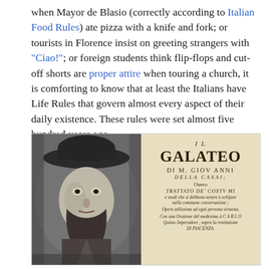when Mayor de Blasio (correctly according to Italian Food Rules) ate pizza with a knife and fork; or tourists in Florence insist on greeting strangers with "Ciao!"; or foreign students think flip-flops and cut-off shorts are proper attire when touring a church, it is comforting to know that at least the Italians have Life Rules that govern almost every aspect of their daily existence. These rules were set almost five hundred years ago.
[Figure (illustration): Left half: black and white portrait engraving of a bearded man wearing a wide-brimmed hat. Right half: aged book title page reading 'IL GALATEO DI M. GIOVANNI DELLA CASAI; Ouero TRATTATO DE' COSTUMI e modi che si debbono tenere o schifare nella commune conversatione; Opera utilissima ad ogni persona virtuosa. Con una Oratione del medesimo à CARLO Quinto Imperadore, sopra la restitutione DI PIACENZA.']